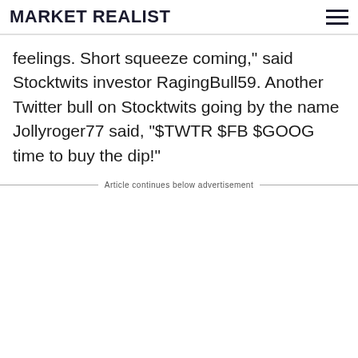MARKET REALIST
feelings. Short squeeze coming," said Stocktwits investor RagingBull59. Another Twitter bull on Stocktwits going by the name Jollyroger77 said, "ⓣTWTR $FB $GOOG time to buy the dip!"
Article continues below advertisement